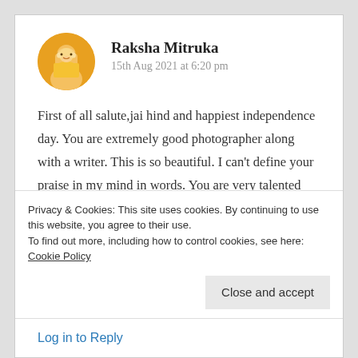[Figure (photo): Circular avatar photo of Raksha Mitruka, a person in a yellow outfit against an orange/yellow background]
Raksha Mitruka
15th Aug 2021 at 6:20 pm
First of all salute,jai hind and happiest independence day. You are extremely good photographer along with a writer. This is so beautiful. I can’t define your praise in my mind in words. You are very talented and beautiful soul. I love all of your blog post and this one is insanely
Privacy & Cookies: This site uses cookies. By continuing to use this website, you agree to their use.
To find out more, including how to control cookies, see here: Cookie Policy
Close and accept
Log in to Reply